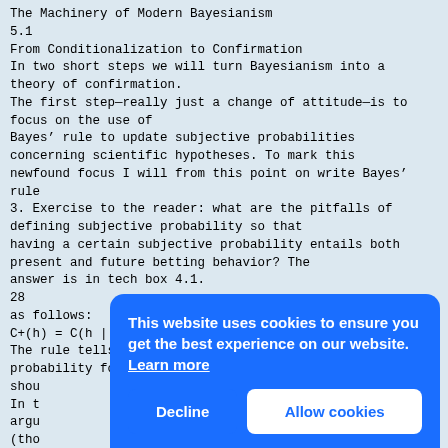The Machinery of Modern Bayesianism
5.1
From Conditionalization to Confirmation
In two short steps we will turn Bayesianism into a theory of confirmation.
The first step—really just a change of attitude—is to focus on the use of
Bayes' rule to update subjective probabilities concerning scientific hypotheses. To mark this newfound focus I will from this point on write Bayes' rule
3. Exercise to the reader: what are the pitfalls of defining subjective probability so that having a certain subjective probability entails both present and future betting behavior? The answer is in tech box 4.1.
28
as follows:
C+(h) = C(h | e).
The rule tells you what your new subjective probability for a hypothesis h
shou...
In t...
argu...
(tho...
outc...
more...
as a...
natu...
of e...
eve...
turning blue. For this reason, most expositors of bct talk apparently inconsistently as if subjective
[Figure (screenshot): Cookie consent banner overlay with blue background. Text reads 'This website uses cookies to ensure you get the best experience on our website. Learn more'. Two buttons: 'Decline' (left, white text on blue) and 'Allow cookies' (right, blue text on white).]